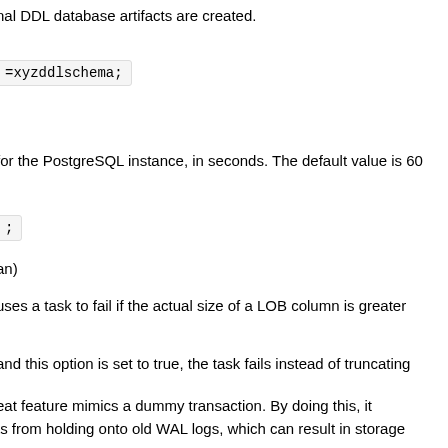nal DDL database artifacts are created.
=xyzddlschema;
for the PostgreSQL instance, in seconds. The default value is 60
;
an)
uses a task to fail if the actual size of a LOB column is greater
and this option is set to true, the task fails instead of truncating
eat feature mimics a dummy transaction. By doing this, it
ts from holding onto old WAL logs, which can result in storage